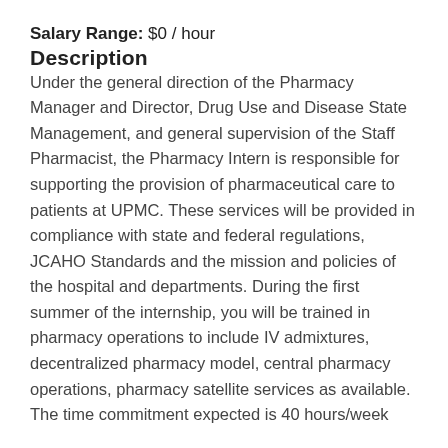Salary Range: $0 / hour
Description
Under the general direction of the Pharmacy Manager and Director, Drug Use and Disease State Management, and general supervision of the Staff Pharmacist, the Pharmacy Intern is responsible for supporting the provision of pharmaceutical care to patients at UPMC. These services will be provided in compliance with state and federal regulations, JCAHO Standards and the mission and policies of the hospital and departments. During the first summer of the internship, you will be trained in pharmacy operations to include IV admixtures, decentralized pharmacy model, central pharmacy operations, pharmacy satellite services as available. The time commitment expected is 40 hours/week